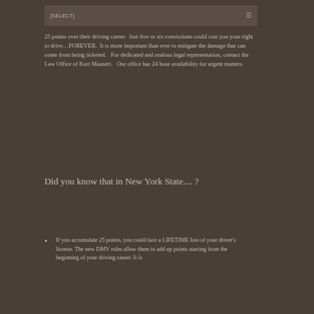[SELECT]
25 points over their driving career.  Just five or six convictions could cost you your right to drive…FOREVER.  It is more important than ever to mitigate the damage that can come from being ticketed.   For dedicated and zealous legal representation, contact the Law Office of Kurt Mausert.   Our office has 24 hour availability for urgent matters.
Did you know that in New York State.... ?
If you accumulate 25 points, you could face a LIFETIME loss of your driver's license. The new DMV rules allow them to add up points starting from the beginning of your driving career. It is